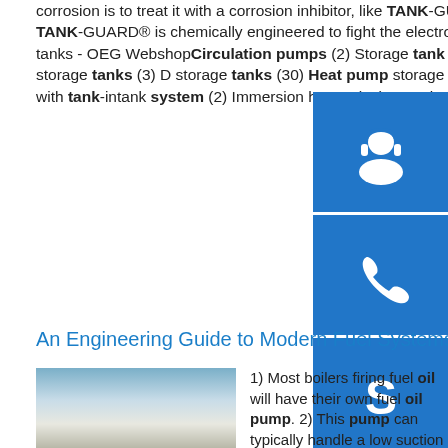corrosion is to treat it with a corrosion inhibitor, like TANK-GUARD®, that mixes with the water and sludge – not with the oil. TANK-GUARD® is chemically engineered to fight the electrolysis and corrosion on the tank bottom.s Heat pump storage tanks - OEG WebshopCirculation pumps (2) Storage tank insulation (3) Buffer storage tanks cold and heat (1) Buffer storage tanks (3) D storage tanks (30) Heat pump storage tanks (2) P water storage tanks (2) Combined storage tanks with tank-intank system (2) Immersion heater (23) Ano Plate heat exchangers (10) Accessories (20) Solar tanks (2)
[Figure (other): Three blue sidebar icons: headset/support icon, phone icon, Skype icon]
An Engineering Guide to Modern Fuel Systems
[Figure (photo): Photo of large white cylindrical fuel/oil storage tanks under blue sky]
1) Most boilers firing fuel oil will have their own fuel oil pump. 2) This pump can typically handle a low suction pressure of 15"Hg without